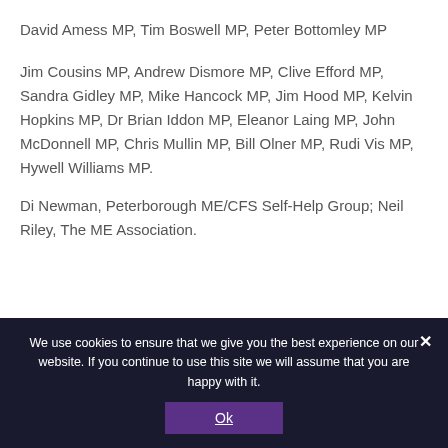David Amess MP, Tim Boswell MP, Peter Bottomley MP
Jim Cousins MP, Andrew Dismore MP, Clive Efford MP, Sandra Gidley MP, Mike Hancock MP, Jim Hood MP, Kelvin Hopkins MP, Dr Brian Iddon MP, Eleanor Laing MP, John McDonnell MP, Chris Mullin MP, Bill Olner MP, Rudi Vis MP, Hywell Williams MP.
Di Newman, Peterborough ME/CFS Self-Help Group; Neil Riley, The ME Association.
We use cookies to ensure that we give you the best experience on our website. If you continue to use this site we will assume that you are happy with it.